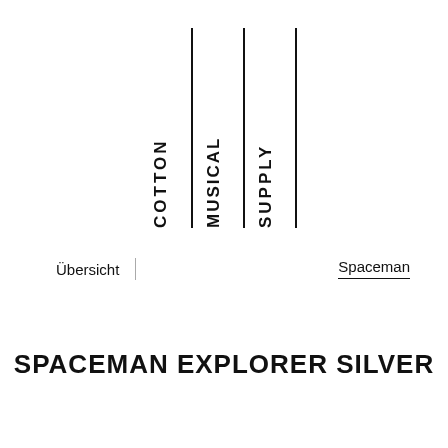[Figure (logo): Cotton Musical Supply logo: three vertical text columns reading COTTON, MUSICAL, SUPPLY rotated 90 degrees, separated by vertical black lines, with an additional line on the right]
Übersicht
Spaceman
SPACEMAN EXPLORER SILVER